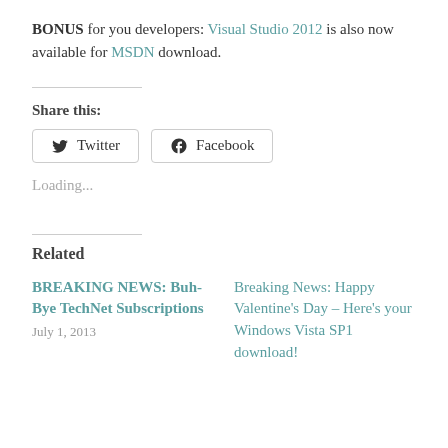BONUS for you developers: Visual Studio 2012 is also now available for MSDN download.
Share this:
Twitter  Facebook
Loading...
Related
BREAKING NEWS: Buh-Bye TechNet Subscriptions
Breaking News: Happy Valentine's Day – Here's your Windows Vista SP1 download!